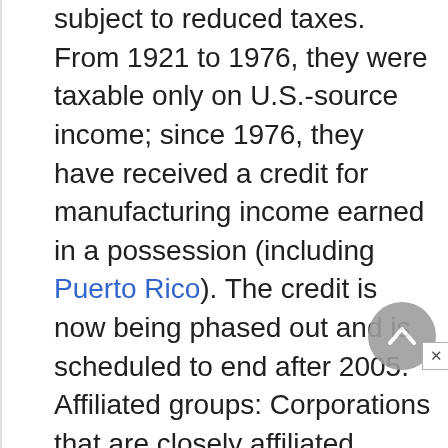subject to reduced taxes. From 1921 to 1976, they were taxable only on U.S.-source income; since 1976, they have received a credit for manufacturing income earned in a possession (including Puerto Rico). The credit is now being phased out and is scheduled to end after 2005. Affiliated groups: Corporations that are closely affiliated through stock ownership have usually been allowed to consolidate their financial statements for tax purposes and file